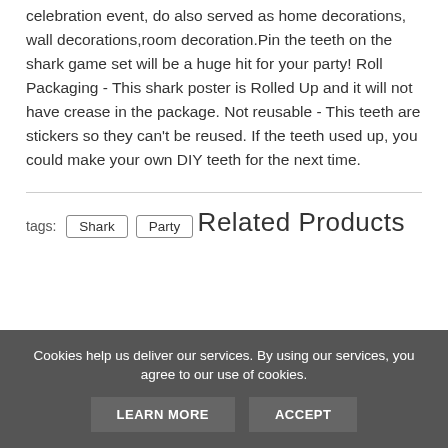celebration event, do also served as home decorations, wall decorations,room decoration.Pin the teeth on the shark game set will be a huge hit for your party! Roll Packaging - This shark poster is Rolled Up and it will not have crease in the package. Not reusable - This teeth are stickers so they can't be reused. If the teeth used up, you could make your own DIY teeth for the next time.
tags: Shark Party
Related Products
Cookies help us deliver our services. By using our services, you agree to our use of cookies.